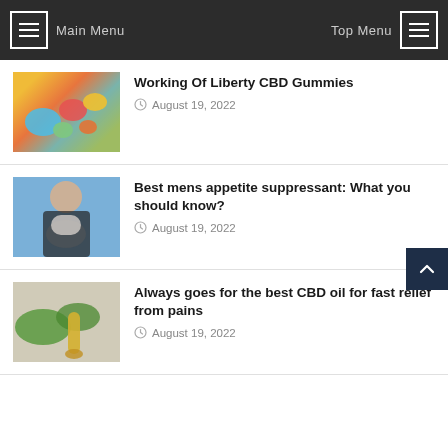Main Menu | Top Menu
[Figure (photo): Colorful gummy candies on a reflective surface]
Working Of Liberty CBD Gummies
August 19, 2022
[Figure (photo): Woman in workout clothes eating from a bowl]
Best mens appetite suppressant: What you should know?
August 19, 2022
[Figure (photo): CBD oil bottle with cannabis leaves on wooden surface]
Always goes for the best CBD oil for fast relief from pains
August 19, 2022